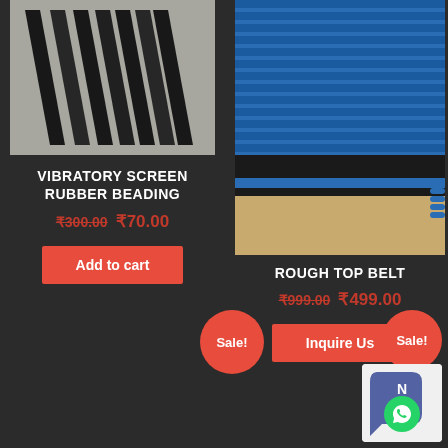[Figure (photo): Photo of black rubber beading strips for vibratory screen]
VIBRATORY SCREEN RUBBER BEADING
₹300.00 ₹70.00
Add to cart
[Figure (photo): Photo of blue rough top belt layered on dark background]
ROUGH TOP BELT
₹999.00 ₹499.00
Inquire Us
Sale!
Sale!